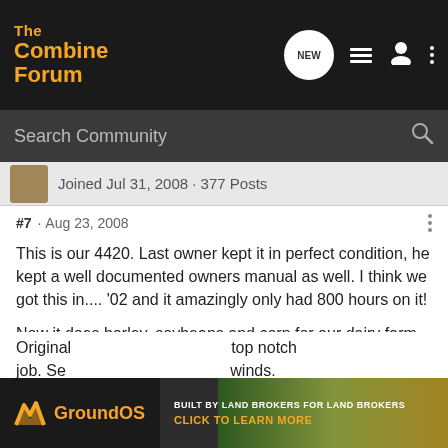The Combine Forum
Joined Jul 31, 2008 · 377 Posts
#7 · Aug 23, 2008
This is our 4420. Last owner kept it in perfect condition, he kept a well documented owners manual as well. I think we got this in.... '02 and it amazingly only had 800 hours on it!

Now it does barley, soybeans and corn for our dairy farm. Its almost at 1400 hours, still low but that doesn't mean its without problems. Been a bunch of bearing changes done and new water pump. Just cause its low hours doesn't mean actual machine age wont catch up!
[Figure (screenshot): GroundOS advertisement banner: BUILT BY LAND BROKERS FOR LAND BROKERS - CLICK TO LEARN MORE]
Original ... top notch job. Se... winds.